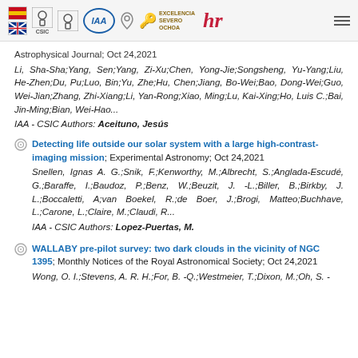IAA CSIC logos and navigation header
Astrophysical Journal; Oct 24,2021
Li, Sha-Sha;Yang, Sen;Yang, Zi-Xu;Chen, Yong-Jie;Songsheng, Yu-Yang;Liu, He-Zhen;Du, Pu;Luo, Bin;Yu, Zhe;Hu, Chen;Jiang, Bo-Wei;Bao, Dong-Wei;Guo, Wei-Jian;Zhang, Zhi-Xiang;Li, Yan-Rong;Xiao, Ming;Lu, Kai-Xing;Ho, Luis C.;Bai, Jin-Ming;Bian, Wei-Hao...
IAA - CSIC Authors: Aceituno, Jesús
Detecting life outside our solar system with a large high-contrast-imaging mission; Experimental Astronomy; Oct 24,2021
Snellen, Ignas A. G.;Snik, F.;Kenworthy, M.;Albrecht, S.;Anglada-Escudé, G.;Baraffe, I.;Baudoz, P.;Benz, W.;Beuzit, J. -L.;Biller, B.;Birkby, J. L.;Boccaletti, A;van Boekel, R.;de Boer, J.;Brogi, Matteo;Buchhave, L.;Carone, L.;Claire, M.;Claudi, R...
IAA - CSIC Authors: Lopez-Puertas, M.
WALLABY pre-pilot survey: two dark clouds in the vicinity of NGC 1395; Monthly Notices of the Royal Astronomical Society; Oct 24,2021
Wong, O. I.;Stevens, A. R. H.;For, B. -Q.;Westmeier, T.;Dixon, M.;Oh, S. -